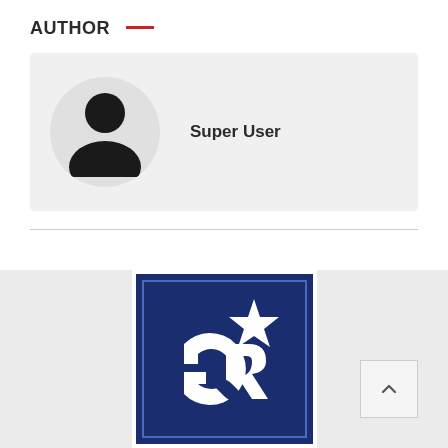AUTHOR
[Figure (infographic): Author card with a default grey silhouette avatar in a circle and the name 'Super User' in bold next to it, on a light grey background]
Super User
[Figure (logo): Organization logo: dark navy blue square with white inner border, featuring interlocked 'G' and 'R' letters with a star above, in white on navy background]